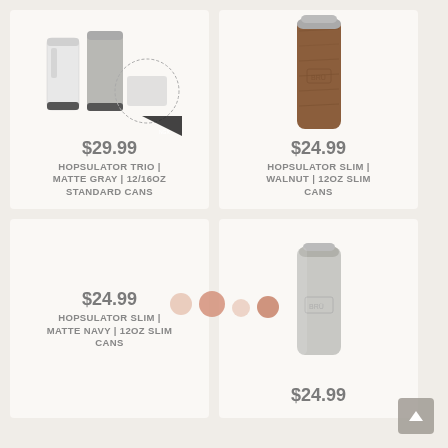[Figure (photo): Hopsulator Trio in Matte Gray showing two can cooler variants and a cross-section diagram]
$29.99
HOPSULATOR TRIO | MATTE GRAY | 12/16OZ STANDARD CANS
[Figure (photo): Hopsulator Slim in Walnut wood-grain finish for 12oz slim cans]
$24.99
HOPSULATOR SLIM | WALNUT | 12OZ SLIM CANS
$24.99
HOPSULATOR SLIM | MATTE NAVY | 12OZ SLIM CANS
[Figure (photo): Hopsulator Slim in light gray finish for 12oz slim cans]
$24.99